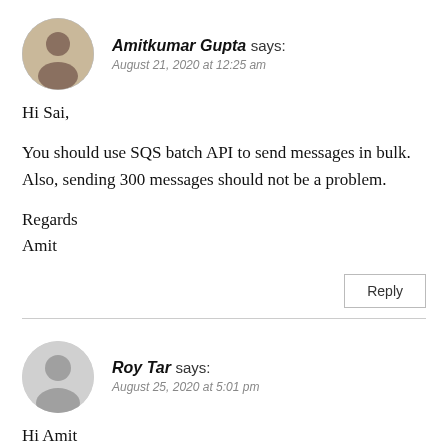Amitkumar Gupta says:
August 21, 2020 at 12:25 am
Hi Sai,

You should use SQS batch API to send messages in bulk. Also, sending 300 messages should not be a problem.

Regards
Amit
Reply
Roy Tar says:
August 25, 2020 at 5:01 pm
Hi Amit